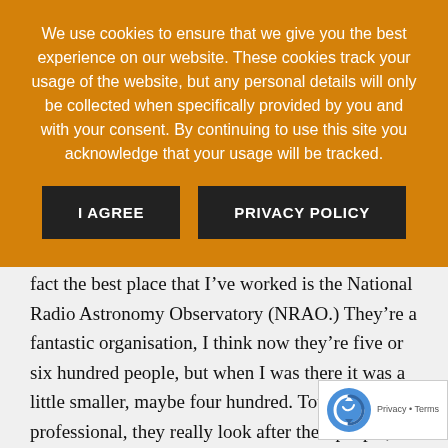We use cookies to ensure that we give you the best experience on our website. These cookies track your usage of the website, but any personal details will only be collected when specifically provided by you and with your consent. By continuing to use this site you acknowledge that your usage will be tracked.
I AGREE | PRIVACY POLICY
that’s where I’ve been for the last ten years, but in fact the best place that I’ve worked is the National Radio Astronomy Observatory (NRAO.) They’re a fantastic organisation, I think now they’re five or six hundred people, but when I was there it was a little smaller, maybe four hundred. Totally professional, they really look after their people, they run the best instruments in the world and it was an exciting time to be there. When I got my job there it was the very start of the commissioning for the Very Long Baseline Array, the VLBA, and I was heavily in in that, which was an exciting time. So I would say NRAO definitely.